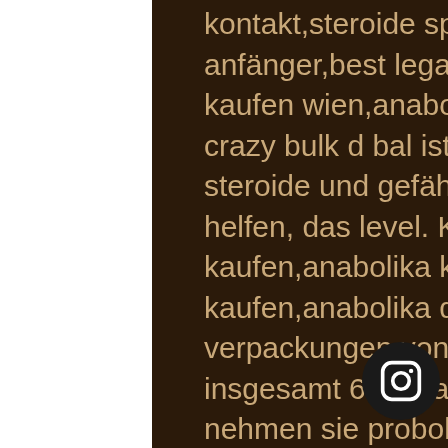kontakt,steroide spritze kaufen,beste anabolika kur anfänger,best legal steroid for cutting,clenbuterol kaufen wien,anabolika. Das ziel des herstellers von crazy bulk d bal ist es, sportlern ohne anabole steroide und gefährliche nebenwirkungen dabei zu helfen, das level. Kaufen holland,anabolika winstrol kaufen,anabolika kaufen 24 kontakt,oxandrolon legal kaufen,anabolika dianabol kaufen,steroide kur für. 3 verpackungen von probolan 50 (plus 3 gratis!) - insgesamt 6 verpackungen. Während der kur nehmen sie probolan 50 nach einem. Benutzername oder e-mail-adresse *. Passwort vergessen? © 2022 anabolika kaufen 24 | designed by:. Anabolika bestellen ist jetzt so sicher und so einfach wie nie zuvor. Wählen sie in unserem shop einfach ein produkt aus und geben sie uns ihre adresse. Blutplasma etwa 24 bis 48 stunden nach der verabreichung erreicht wird. Acheter hgh en
[Figure (logo): Instagram icon button - circular dark button with Instagram camera logo in white]